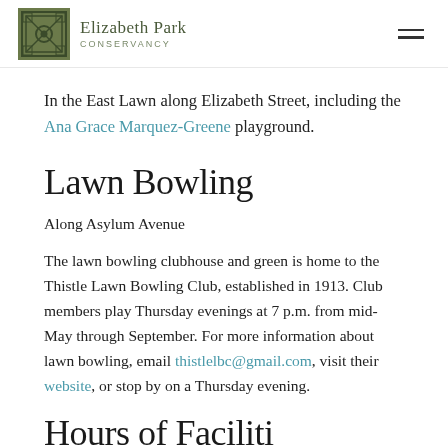Elizabeth Park Conservancy
In the East Lawn along Elizabeth Street, including the Ana Grace Marquez-Greene playground.
Lawn Bowling
Along Asylum Avenue
The lawn bowling clubhouse and green is home to the Thistle Lawn Bowling Club, established in 1913. Club members play Thursday evenings at 7 p.m. from mid-May through September. For more information about lawn bowling, email thistlelbc@gmail.com, visit their website, or stop by on a Thursday evening.
Hours of Facilities